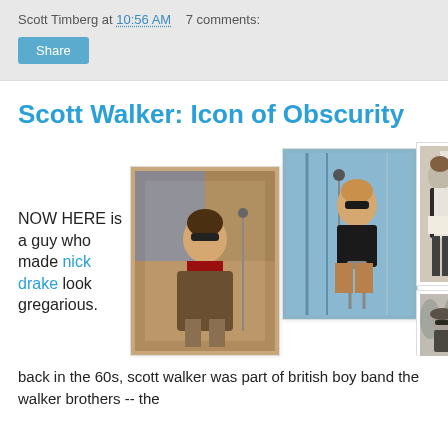Scott Timberg at 10:56 AM   7 comments:
Scott Walker: Icon of Obscurity
[Figure (photo): Three vintage photos of Scott Walker, plus one partial photo below]
NOW HERE is a guy who made nick drake look gregarious.
back in the 60s, scott walker was part of british boy band the walker brothers -- the